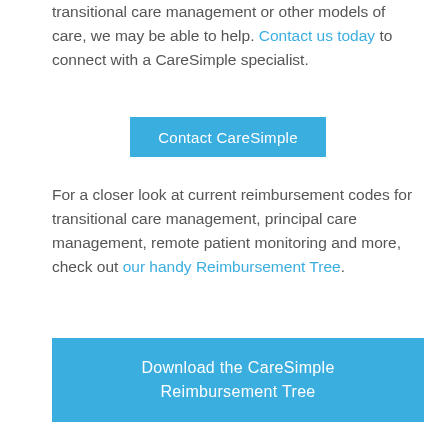transitional care management or other models of care, we may be able to help. Contact us today to connect with a CareSimple specialist.
Contact CareSimple
For a closer look at current reimbursement codes for transitional care management, principal care management, remote patient monitoring and more, check out our handy Reimbursement Tree.
Download the CareSimple Reimbursement Tree